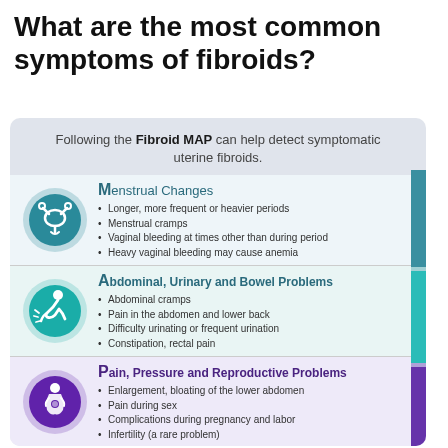What are the most common symptoms of fibroids?
[Figure (infographic): Infographic titled 'Following the Fibroid MAP can help detect symptomatic uterine fibroids.' Three sections labeled M (Menstrual Changes), A (Abdominal, Urinary and Bowel Problems), and P (Pain, Pressure and Reproductive Problems), each with a teal or purple icon circle and bullet-point symptoms. A vertical bar on the right is segmented teal-to-purple for M, A, P sections.]